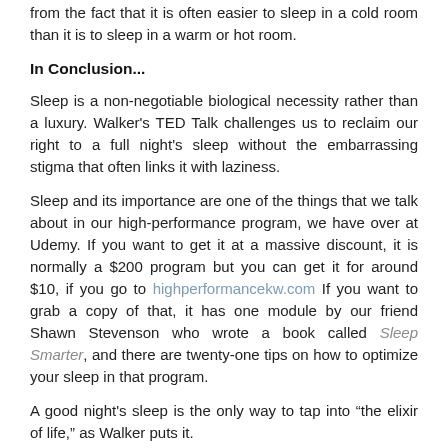from the fact that it is often easier to sleep in a cold room than it is to sleep in a warm or hot room.
In Conclusion...
Sleep is a non-negotiable biological necessity rather than a luxury. Walker's TED Talk challenges us to reclaim our right to a full night's sleep without the embarrassing stigma that often links it with laziness.
Sleep and its importance are one of the things that we talk about in our high-performance program, we have over at Udemy. If you want to get it at a massive discount, it is normally a $200 program but you can get it for around $10, if you go to highperformancekw.com If you want to grab a copy of that, it has one module by our friend Shawn Stevenson who wrote a book called Sleep Smarter, and there are twenty-one tips on how to optimize your sleep in that program.
A good night's sleep is the only way to tap into “the elixir of life,” as Walker puts it.